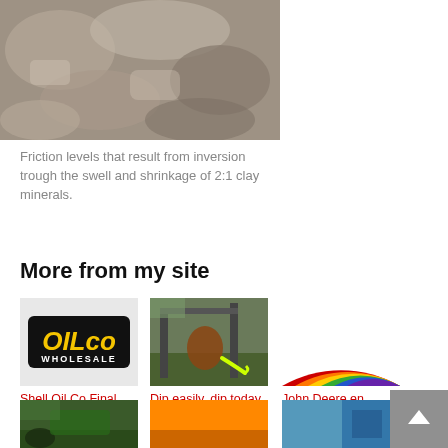[Figure (photo): Close-up photo of rocky/stony ground with grey and brown tones]
Friction levels that result from inversion trough the swell and shrinkage of 2:1 clay minerals.
More from my site
[Figure (logo): OILco WHOLESALE logo on grey/light background]
[Figure (photo): Photo of animal being dipped/sprayed in a metal dipping structure with yellow hose]
[Figure (illustration): Colorful rainbow arc/stripes illustration with purple, blue, green, yellow, orange, red bands]
Shell Oil Co Final 2014
Dip easily, dip today, dip with Tal-Tec
John Deere en telematika: JDLinkTM maak boerdery maklik, lekker en winsgewend
[Figure (photo): Bottom thumbnail 1 - tractor/farming scene]
[Figure (photo): Bottom thumbnail 2 - orange background scene]
[Figure (photo): Bottom thumbnail 3 - blue/teal machinery]